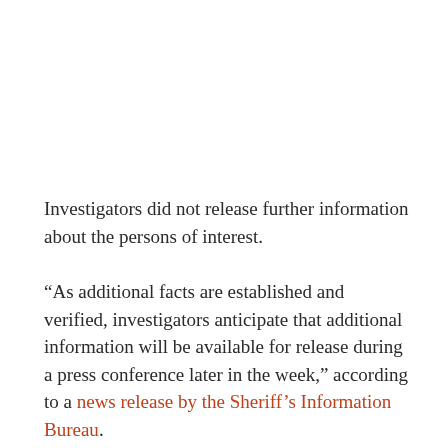Investigators did not release further information about the persons of interest.
“As additional facts are established and verified, investigators anticipate that additional information will be available for release during a press conference later in the week,” according to a news release by the Sheriff’s Information Bureau.
The girl’s family members created a memorial of